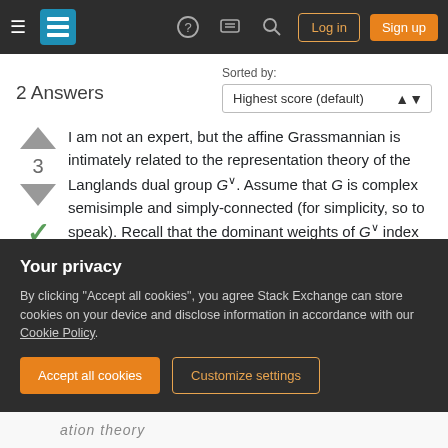Stack Exchange navigation bar with hamburger menu, logo, help, chat, search, Log in, Sign up
2 Answers
Sorted by: Highest score (default)
I am not an expert, but the affine Grassmannian is intimately related to the representation theory of the Langlands dual group G^∨. Assume that G is complex semisimple and simply-connected (for simplicity, so to speak). Recall that the dominant weights of G^∨ index the finite-dimensional irreducible complex G^∨-modules. The dominant
Your privacy
By clicking "Accept all cookies", you agree Stack Exchange can store cookies on your device and disclose information in accordance with our Cookie Policy.
Accept all cookies  Customize settings